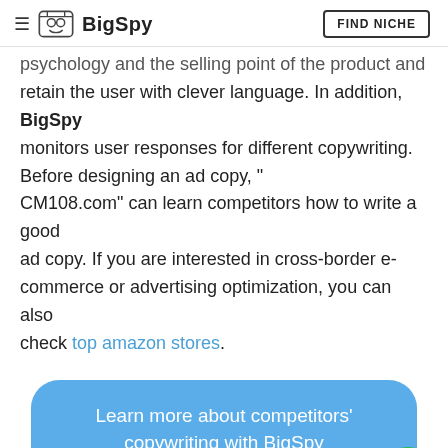BigSpy — FIND NICHE
psychology and the selling point of the product and retain the user with clever language. In addition, BigSpy monitors user responses for different copywriting. Before designing an ad copy, "CM108.com" can learn competitors how to write a good ad copy. If you are interested in cross-border e-commerce or advertising optimization, you can also check top amazon stores.
Learn more about competitors' copywriting with BigSpy